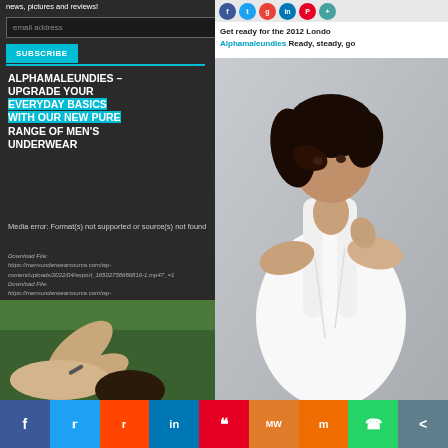news, pictures and reviews!
email address
SUBSCRIBE
ALPHAMALEUNDIES – UPGRADE YOUR EVERYDAY BASICS WITH OUR NEW PURE RANGE OF MEN'S UNDERWEAR
Media error: Format(s) not supported or source(s) not found
Download File: https://mensunderwearsource.com/wp-content/uploads/2022/04/export_16502758686816-1.mp47_=1
Download File: https://mensunderwearsource.com/wp-content/uploads/2022/04/export_16502758686816-1.mp47_=1
[Figure (photo): Man in white tank top with dark hair posing]
[Figure (photo): Person with raised arm in outdoor/green background]
Get ready for the 2012 Londo
Alphamaleundies Ready, steady, go
f  Twitter  Reddit  in  Pinterest  MW  Mix  WhatsApp  Share